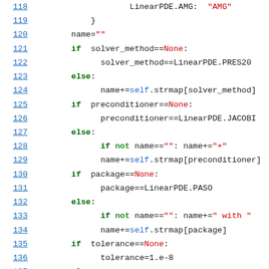[Figure (screenshot): Python source code snippet showing lines 118-139 with syntax highlighting. Line numbers in blue on left, keywords in bold green, string literals in red, identifiers in black monospace font.]